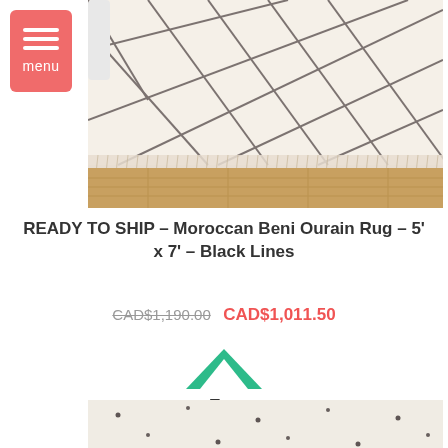[Figure (photo): Photo of a white Moroccan Beni Ourain rug with black diamond/cross-hatch lines, laid on a wooden floor]
READY TO SHIP – Moroccan Beni Ourain Rug – 5' x 7' – Black Lines
CAD$1,190.00  CAD$1,011.50
[Figure (illustration): Green upward chevron/caret arrow icon with 'Top' label below]
[Figure (photo): Close-up photo of a white fluffy rug with small dark dot/spot pattern]